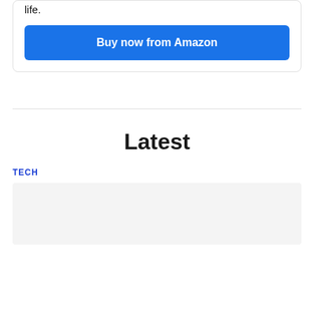life.
Buy now from Amazon
Latest
TECH
[Figure (other): Gray placeholder image area below TECH label]